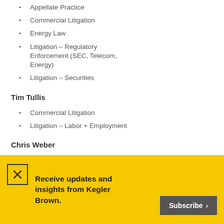Appellate Practice
Commercial Litigation
Energy Law
Litigation – Regulatory Enforcement (SEC, Telecom, Energy)
Litigation – Securities
Tim Tullis
Commercial Litigation
Litigation – Labor + Employment
Chris Weber
Corporate Compliance Law
Receive updates and insights from Kegler Brown.